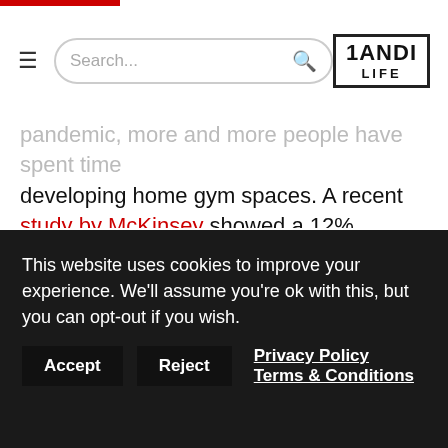≡ Search... [1ANDI LIFE logo]
pandemic, more and more people have spent time developing home gym spaces. A recent study by McKinsey showed a 12% increase in Americans working out from home. Home workouts can be just as beneficial as gym workouts, but the more equipment you have in your home, the easier it is to stay on top of your fitness goals. As a result, the all-in-one home gym has been on the rise and will most likely be here to stay in 2021 as people realize they can exercise safely and effectively from their home without paying
This website uses cookies to improve your experience. We'll assume you're ok with this, but you can opt-out if you wish. Accept Reject Privacy Policy Terms & Conditions